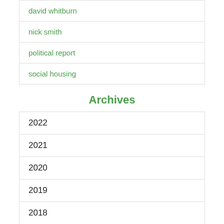david whitburn
nick smith
political report
social housing
Archives
2022
2021
2020
2019
2018
2017